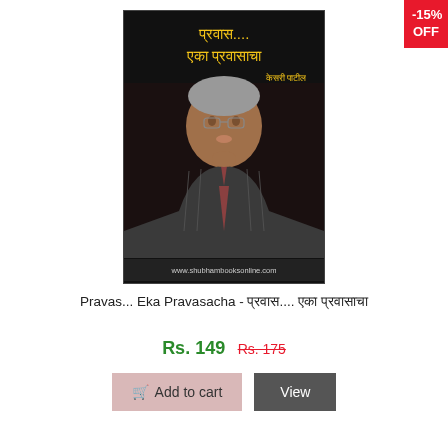[Figure (photo): Book cover of 'Pravas... Eka Pravasacha' showing a smiling elderly man in a suit with Devanagari title text and website www.shubhambooksonline.com]
-15% OFF
Pravas... Eka Pravasacha - प्रवास.... एका प्रवासाचा
Rs. 149 Rs. 175
Add to cart
View